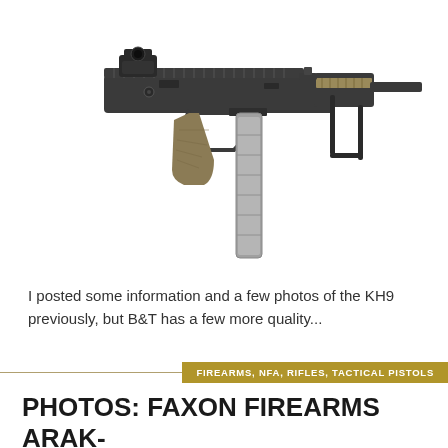[Figure (photo): A submachine gun / tactical pistol (KH9 or similar) with tan pistol grip, red dot optic, extended magazine, and folding stock on white background]
I posted some information and a few photos of the KH9 previously, but B&T has a few more quality...
FIREARMS, NFA, RIFLES, TACTICAL PISTOLS
PHOTOS: FAXON FIREARMS ARAK-